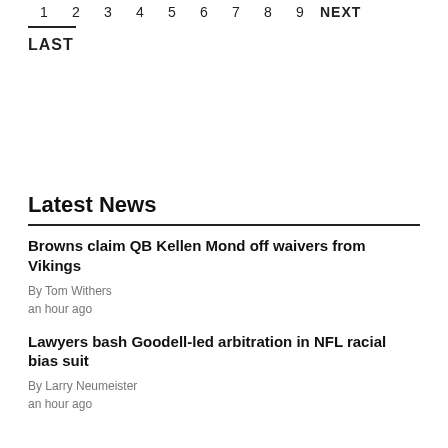1 2 3 4 5 6 7 8 9 NEXT
LAST
Latest News
Browns claim QB Kellen Mond off waivers from Vikings
By Tom Withers
an hour ago
Lawyers bash Goodell-led arbitration in NFL racial bias suit
By Larry Neumeister
an hour ago